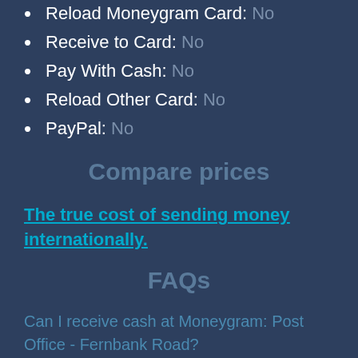Reload Moneygram Card: No
Receive to Card: No
Pay With Cash: No
Reload Other Card: No
PayPal: No
Compare prices
The true cost of sending money internationally.
FAQs
Can I receive cash at Moneygram: Post Office - Fernbank Road?